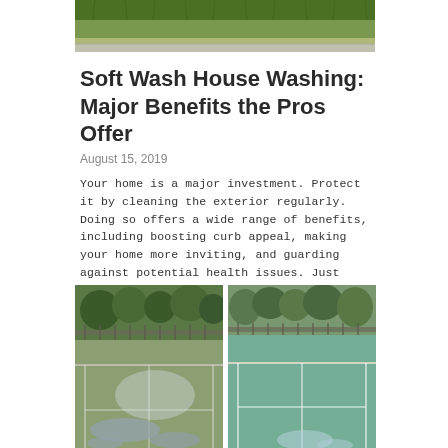[Figure (photo): Top portion of an outdoor scene, showing grass/lawn area with a sidewalk or curb visible]
Soft Wash House Washing: Major Benefits the Pros Offer
August 15, 2019
Your home is a major investment. Protect it by cleaning the exterior regularly. Doing so offers a wide range of benefits, including boosting curb appeal, making your home more inviting, and guarding against potential health issues. Just make sure you hire professionals for this task. You don't want to cause unexpected damage because you used…
[Figure (photo): Two side-by-side photos of outdoor tennis courts. Left photo shows a dirty/wet court with puddles and debris. Right photo shows a clean green tennis court after washing.]